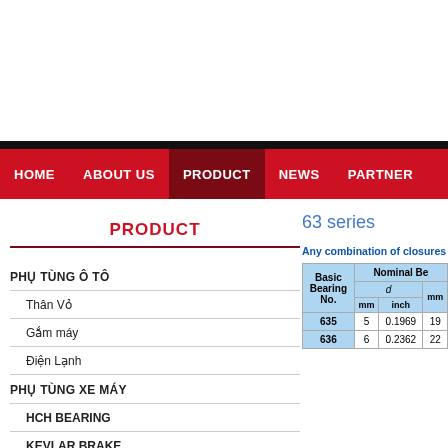Navigation bar with HOME, ABOUT US, PRODUCT (active), NEWS, PARTNER
PRODUCT
PHỤ TÙNG Ô TÔ
Thân Vỏ
Gắm máy
Điện Lạnh
PHỤ TÙNG XE MÁY
HCH BEARING
KEVLAR BRAKE
63 series
Any combination of closures
| Basic Bearing No. | Nominal Be... d mm | Nominal Be... d inch | Nominal Be... mm |
| --- | --- | --- | --- |
| 635 | 5 | 0.1969 | 19... |
| 636 | 6 | 0.2362 | 22... |